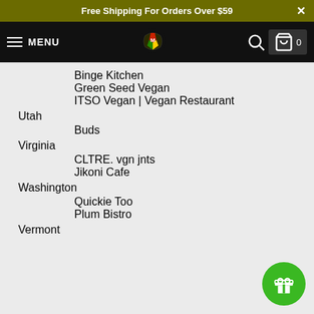Free Shipping For Orders Over $59
MENU
Binge Kitchen
Green Seed Vegan
ITSO Vegan | Vegan Restaurant
Utah
Buds
Virginia
CLTRE. vgn jnts
Jikoni Cafe
Washington
Quickie Too
Plum Bistro
Vermont